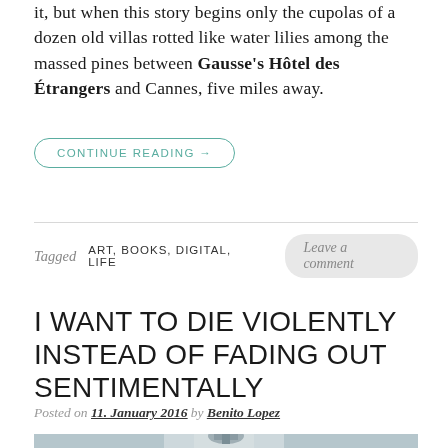it, but when this story begins only the cupolas of a dozen old villas rotted like water lilies among the massed pines between Gausse's Hôtel des Étrangers and Cannes, five miles away.
CONTINUE READING →
Tagged ART, BOOKS, DIGITAL, LIFE   Leave a comment
I WANT TO DIE VIOLENTLY INSTEAD OF FADING OUT SENTIMENTALLY
Posted on 11. January 2016 by Benito Lopez
[Figure (photo): A photograph showing the dome of a classical building (likely a church or cathedral) against a pale grey sky, with architectural details at the top of the dome visible.]